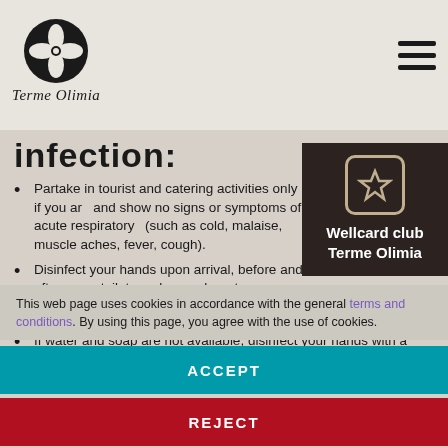Terme Olimia
infection:
Partake in tourist and catering activities only if you are and show no signs or symptoms of acute respiratory (such as cold, malaise, muscle aches, fever, cough).
Disinfect your hands upon arrival, before and after us toilets and upon departure.
Wash hands regularly and thoroughly with soap and water.
If water and soap are not available, disinfect your hands with a dedicated hand sanitizer.
Do not touch your face (eyes, nose, and mouth) with
[Figure (logo): Wellcard club Terme Olimia widget with star icon]
This web page uses cookies in accordance with the general terms and conditions. By using this page, you agree with the use of cookies.
ACCEPT
REJECT